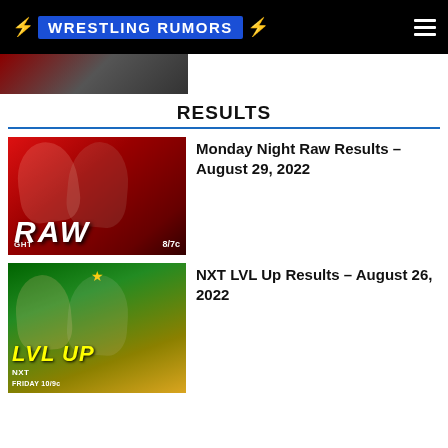WRESTLING RUMORS
[Figure (photo): Partial image of wrestling event thumbnail at top of page]
RESULTS
[Figure (photo): Monday Night Raw promotional image with wrestlers]
Monday Night Raw Results – August 29, 2022
[Figure (photo): NXT LVL Up promotional image with wrestlers]
NXT LVL Up Results – August 26, 2022